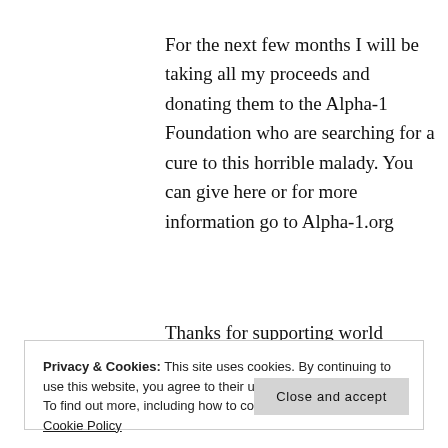For the next few months I will be taking all my proceeds and donating them to the Alpha-1 Foundation who are searching for a cure to this horrible malady. You can give here or for more information go to Alpha-1.org
Thanks for supporting world
Privacy & Cookies: This site uses cookies. By continuing to use this website, you agree to their use.
To find out more, including how to control cookies, see here: Cookie Policy